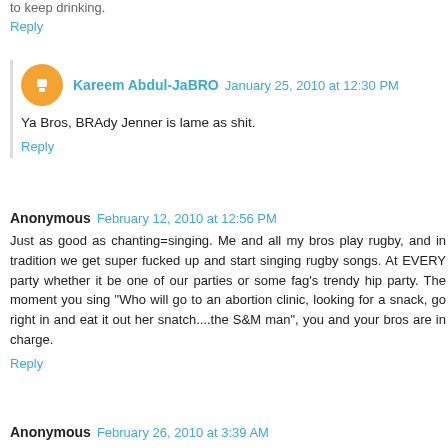to keep drinking.
Reply
Kareem Abdul-JaBRO  January 25, 2010 at 12:30 PM
Ya Bros, BRAdy Jenner is lame as shit.
Reply
Anonymous  February 12, 2010 at 12:56 PM
Just as good as chanting=singing. Me and all my bros play rugby, and in tradition we get super fucked up and start singing rugby songs. At EVERY party whether it be one of our parties or some fag's trendy hip party. The moment you sing "Who will go to an abortion clinic, looking for a snack, go right in and eat it out her snatch....the S&M man", you and your bros are in charge.
Reply
Anonymous  February 26, 2010 at 3:39 AM